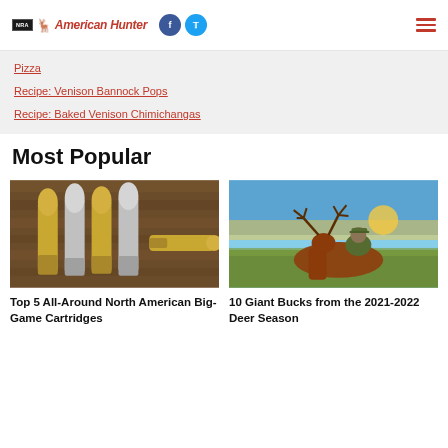NRA American Hunter
Pizza
Recipe: Venison Bannock Pops
Recipe: Baked Venison Chimichangas
Most Popular
[Figure (photo): Five rifle cartridges/bullets standing and lying on a wooden surface]
Top 5 All-Around North American Big-Game Cartridges
[Figure (photo): Hunter posing with a large whitetail buck at sunset in a field]
10 Giant Bucks from the 2021-2022 Deer Season